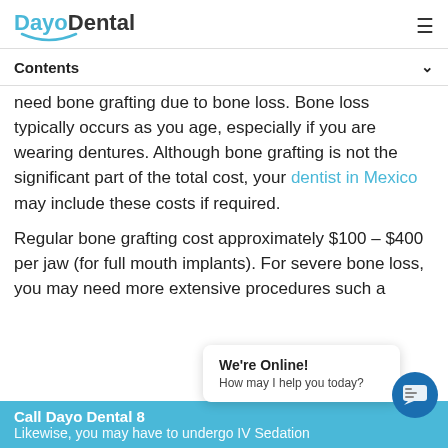DayoDental
Contents
need bone grafting due to bone loss. Bone loss typically occurs as you age, especially if you are wearing dentures. Although bone grafting is not the significant part of the total cost, your dentist in Mexico may include these costs if required.
Regular bone grafting cost approximately $100 – $400 per jaw (for full mouth implants). For severe bone loss, you may need more extensive procedures such a...
Call Dayo Dental 8... Likewise, you may have to undergo IV Sedation...